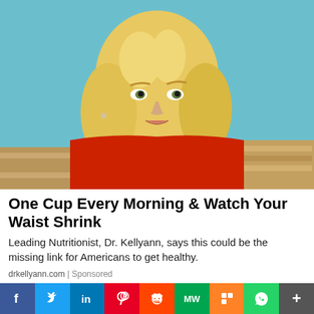[Figure (photo): Blonde woman in red top on a TV show set with teal/blue background]
One Cup Every Morning & Watch Your Waist Shrink
Leading Nutritionist, Dr. Kellyann, says this could be the missing link for Americans to get healthy.
drkellyann.com | Sponsored
[Figure (photo): Partial second image showing person outdoors]
[Figure (infographic): Social media share bar with Facebook, Twitter, LinkedIn, Pinterest, Reddit, MeWe, Mix, WhatsApp, and More buttons]